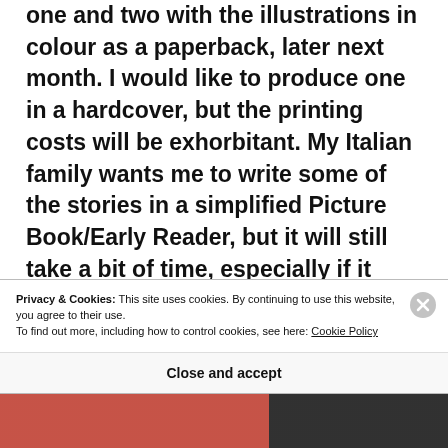one and two with the illustrations in colour as a paperback, later next month. I would like to produce one in a hardcover, but the printing costs will be exhorbitant. My Italian family wants me to write some of the stories in a simplified Picture Book/Early Reader, but it will still take a bit of time, especially if it must be translated into Italian, as well. 😄All the best with the release of your first book, next month, too. Kind regards.
Privacy & Cookies: This site uses cookies. By continuing to use this website, you agree to their use.
To find out more, including how to control cookies, see here: Cookie Policy
Close and accept